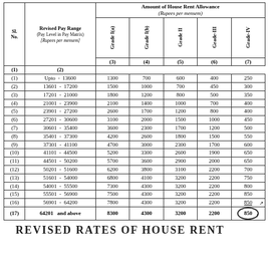| Sl. No. | Revised Pay Range (Pay Level in Pay Matrix) [Rupees per mensem] | Grade I(a) | Grade I(b) | Grade II | Grade-III | Grade-IV |
| --- | --- | --- | --- | --- | --- | --- |
| (1) | (2) | (3) | (4) | (5) | (6) | (7) |
| (1) | Upto - 13600 | 1300 | 700 | 600 | 400 | 250 |
| (2) | 13601 - 17200 | 1500 | 1000 | 700 | 450 | 300 |
| (3) | 17201 - 21000 | 1800 | 1200 | 800 | 500 | 350 |
| (4) | 21001 - 23900 | 2100 | 1400 | 1000 | 700 | 400 |
| (5) | 23901 - 27200 | 2600 | 1700 | 1200 | 800 | 400 |
| (6) | 27201 - 30600 | 3100 | 2000 | 1500 | 1000 | 450 |
| (7) | 30601 - 35400 | 3600 | 2300 | 1700 | 1200 | 500 |
| (8) | 35401 - 37300 | 4200 | 2600 | 1800 | 1500 | 550 |
| (9) | 37301 - 41100 | 4700 | 3000 | 2300 | 1700 | 600 |
| (10) | 41101 - 44500 | 5200 | 3300 | 2600 | 1900 | 650 |
| (11) | 44501 - 50200 | 5700 | 3600 | 2900 | 2000 | 650 |
| (12) | 50201 - 51600 | 6200 | 3800 | 3100 | 2200 | 700 |
| (13) | 51601 - 54000 | 6800 | 4100 | 3200 | 2200 | 750 |
| (14) | 54001 - 55500 | 7300 | 4300 | 3200 | 2200 | 800 |
| (15) | 55501 - 56900 | 7500 | 4300 | 3200 | 2200 | 850 |
| (16) | 56901 - 64200 | 7800 | 4300 | 3200 | 2200 | 850 |
| (17) | 64201 and above | 8300 | 4300 | 3200 | 2200 | 850 |
REVISED RATES OF HOUSE RENT